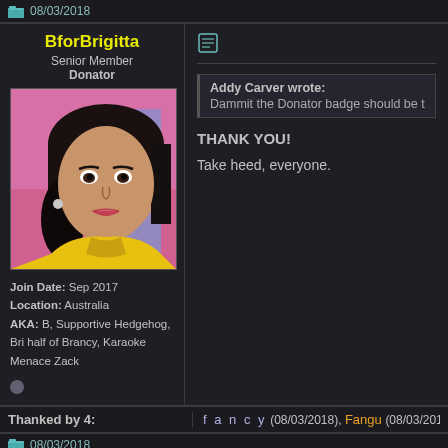08/03/2018
BforBrigitta
Senior Member
Donator
Join Date: Sep 2017
Location: Australia
AKA: B, Supportive Hedgehog, Bri half of Brancy, Karaoke Menace Zack
[Figure (illustration): Anime-style avatar of a woman with dark hair wearing a yellow jacket against a pink background]
Addy Carver wrote:
Dammit the Donator badge should be t...
THANK YOU!
Take heed, everyone.
Thanked by 4:
f a n c y (08/03/2018), Fangu (08/03/2018)
08/03/2018
X-SOLDIER
Administrator
Great Old One
Harbinger O Great Justice
I feel like (depending on how the number...